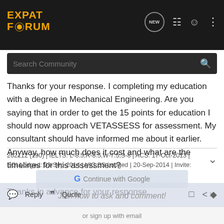EXPAT FORUM
Search Community
Thanks for your response. I completing my education with a degree in Mechanical Engineering. Are you saying that in order to get the 15 points for education I should now approach VETASSESS for assessment. My consultant should have informed me about it earlier. Anyway, how much does it cost and what are the timelines for this assessment?

Thanks in advance for your response.
Join now to ask and comment!
262112 (190) | IELTS: L-8.5,R-8.5,W-7.5,S-8 | ACS: 17-Oct-2013 | EOI Lodged: 03-Sep-2014 | VIC SS Lodged | 20-Sep-2014 | Invite:
Reply  Quote
Continue with Google
or sign up with email